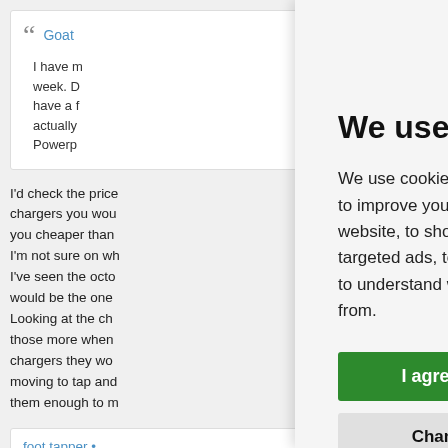" Goat...
I have m... week. D... have a f... actually... Powerp...
I'd check the price... chargers you wou... you cheaper than... I'm not sure on wh... I've seen the octo... would be the one... Looking at the ch... those more when... chargers they wo... moving to tap and... them enough to m...
foot tapper •
We use cookies
We use cookies and other tracking technologies to improve your browsing experience on our website, to show you personalized content and targeted ads, to analyze our website traffic, and to understand where our visitors are coming from.
I agree
Change my preferences